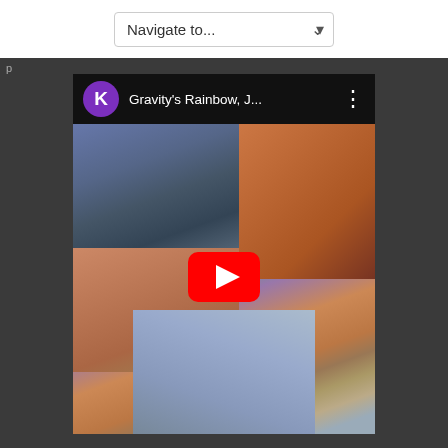[Figure (screenshot): A web page screenshot showing a 'Navigate to...' dropdown navigation bar at the top on a white background, followed by a dark gray background area. An embedded YouTube video card is shown with a black header containing a purple 'K' avatar circle, the title 'Gravity's Rainbow, J...' in white text, and a three-dot menu icon. Below is a blurry video thumbnail showing hands/objects with a red YouTube play button overlaid in the center.]